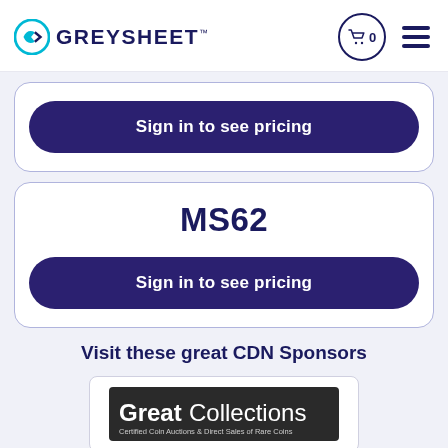GREYSHEET
Sign in to see pricing
MS62
Sign in to see pricing
Visit these great CDN Sponsors
[Figure (logo): GreatCollections logo — Certified Coin Auctions & Direct Sales of Rare Coins]